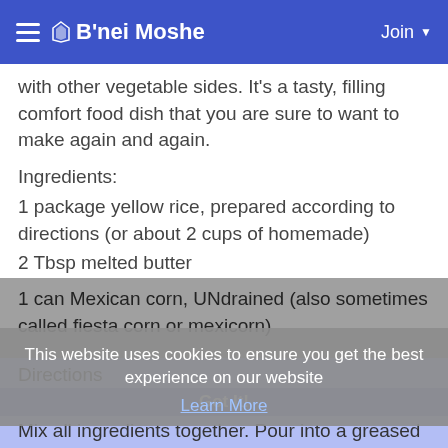B'nei Moshe
with other vegetable sides. It's a tasty, filling comfort food dish that you are sure to want to make again and again.
Ingredients:
1 package yellow rice, prepared according to directions (or about 2 cups of homemade)
2 Tbsp melted butter
1 can Mexican corn, UNdrained (also sometimes called fiesta corn or mexicorn)
1 can cream of chicken soup (or 1.25 cups homemade)
1 c shredded cheddar cheese
This website uses cookies to ensure you get the best experience on our website
Learn More
Directions
Got It!
Mix all ingredients together. Pour into a greased